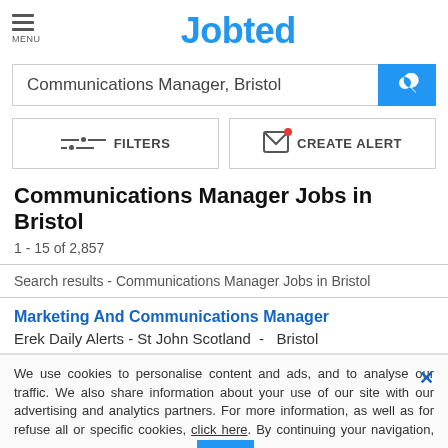Jobted
Communications Manager, Bristol
FILTERS   CREATE ALERT
Communications Manager Jobs in Bristol
1 - 15 of 2,857
Search results - Communications Manager Jobs in Bristol
Marketing And Communications Manager
Erek Daily Alerts - St John Scotland  -  Bristol
We use cookies to personalise content and ads, and to analyse our traffic. We also share information about your use of our site with our advertising and analytics partners. For more information, as well as for refuse all or specific cookies, click here. By continuing your navigation, you accept our use of cookies.